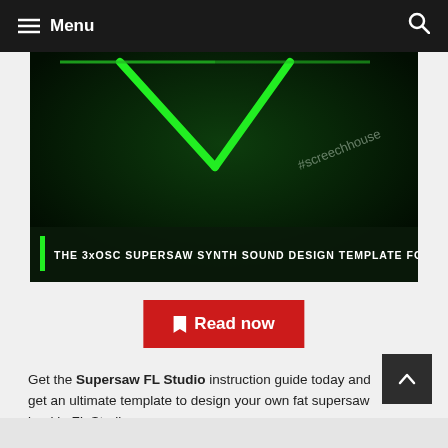Menu
[Figure (screenshot): Dark green themed promotional image for '3xOSC Supersaw Synth Sound Design Template for Beginners' with a large green V-shaped logo and #screechhouse watermark text]
Read now
Get the Supersaw FL Studio instruction guide today and get an ultimate template to design your own fat supersaw lead in FL Studio.